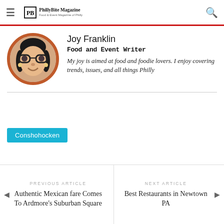PhillyBite Magazine — Food and Event Magazine of Philly
[Figure (photo): Circular portrait photo of Joy Franklin, a woman with glasses and dark hair, smiling, framed by a burnt-orange/terracotta circular border]
Joy Franklin
Food and Event Writer
My joy is aimed at food and foodie lovers. I enjoy covering trends, issues, and all things Philly
Conshohocken
PREVIOUS ARTICLE
Authentic Mexican fare Comes To Ardmore's Suburban Square
NEXT ARTICLE
Best Restaurants in Newtown PA